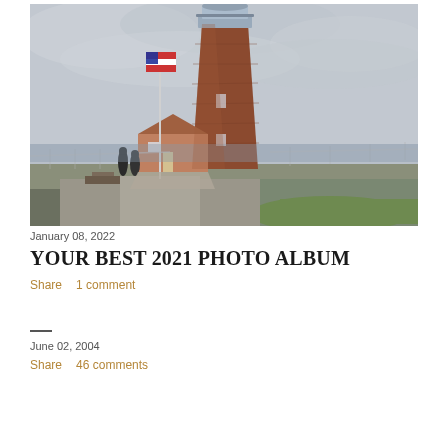[Figure (photo): Photograph of a red brick lighthouse with a lantern room at the top, an adjacent keeper's house, a flagpole flying the American flag, and people visible near a railing overlooking water, under an overcast gray sky.]
January 08, 2022
YOUR BEST 2021 PHOTO ALBUM
Share   1 comment
—
June 02, 2004
Share   46 comments